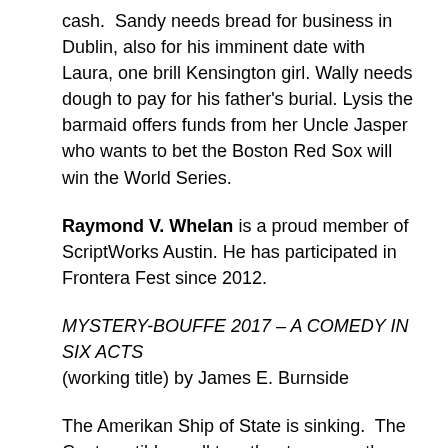cash.  Sandy needs bread for business in Dublin, also for his imminent date with Laura, one brill Kensington girl. Wally needs dough to pay for his father's burial. Lysis the barmaid offers funds from her Uncle Jasper who wants to bet the Boston Red Sox will win the World Series.
Raymond V. Whelan is a proud member of ScriptWorks Austin. He has participated in Frontera Fest since 2012.
MYSTERY-BOUFFE 2017 – A COMEDY IN SIX ACTS (working title) by James E. Burnside
The Amerikan Ship of State is sinking.  The Contemptibles pull together to rescue the ship with the inspiration of their fearless leader.  They throw open the gates of Hell to toss in the illegals, the queer, the brown.  They tear down the gates of Heaven to drag out the “peacemakers” who would